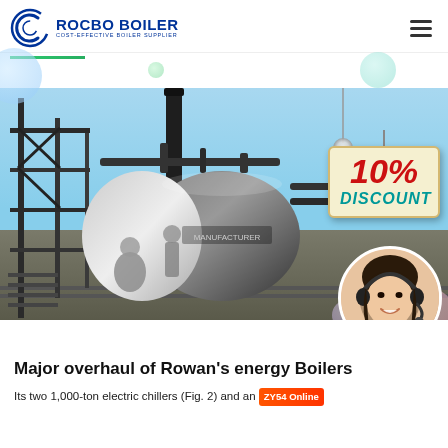ROCBO BOILER - COST-EFFECTIVE BOILER SUPPLIER
[Figure (photo): Industrial boiler installation photo with a large cylindrical boiler unit on scaffolding, chimney stack, outdoor industrial site. Overlaid with a '10% DISCOUNT' sign and a customer service representative circle image in the bottom-right corner.]
Major overhaul of Rowan's energy Boilers
Its two 1,000-ton electric chillers (Fig. 2) and an ZY54 Online...